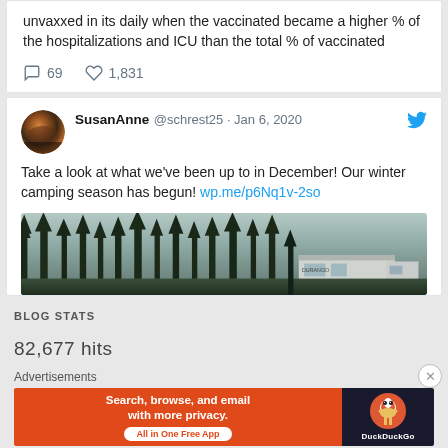unvaxxed in its daily when the vaccinated became a higher % of the hospitalizations and ICU than the total % of vaccinated
69  1,831
SusanAnne @schrest25 · Jan 6, 2020
Take a look at what we've been up to in December! Our winter  camping season has begun! wp.me/p6Nq1v-2so
[Figure (photo): Forest scene with tall pine trees and a vehicle (RV/Durango) visible in the background]
BLOG STATS
82,677 hits
Advertisements
[Figure (infographic): DuckDuckGo advertisement banner: Search, browse, and email with more privacy. All in One Free App]